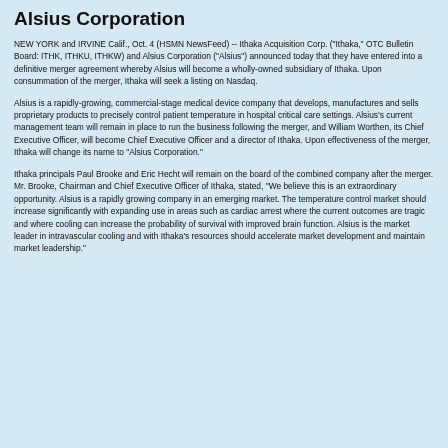Alsius Corporation
NEW YORK and IRVINE Calif., Oct. 4 (HSMN NewsFeed) -- Ithaka Acquisition Corp. ("Ithaka," OTC Bulletin Board: ITHK, ITHKU, ITHKW) and Alsius Corporation ("Alsius") announced today that they have entered into a definitive merger agreement whereby Alsius will become a wholly-owned subsidiary of Ithaka. Upon consummation of the merger, Ithaka will seek a listing on Nasdaq.
Alsius is a rapidly-growing, commercial-stage medical device company that develops, manufactures and sells proprietary products to precisely control patient temperature in hospital critical care settings. Alsius’s current management team will remain in place to run the business following the merger, and William Worthen, its Chief Executive Officer, will become Chief Executive Officer and a director of Ithaka. Upon effectiveness of the merger, Ithaka will change its name to "Alsius Corporation."
Ithaka principals Paul Brooke and Eric Hecht will remain on the board of the combined company after the merger. Mr. Brooke, Chairman and Chief Executive Officer of Ithaka, stated, "We believe this is an extraordinary opportunity. Alsius is a rapidly growing company in an emerging market. The temperature control market should increase significantly with expanding use in areas such as cardiac arrest where the current outcomes are tragic and where cooling can increase the probability of survival with improved brain function. Alsius is the market leader in intravascular cooling and with Ithaka's resources should accelerate market development and maintain market leadership."